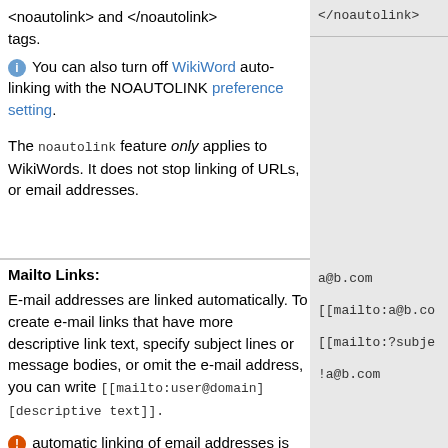<noautolink> and </noautolink> tags.
You can also turn off WikiWord auto-linking with the NOAUTOLINK preference setting.
The noautolink feature only applies to WikiWords. It does not stop linking of URLs, or email addresses.
</noautolink>
Mailto Links:
E-mail addresses are linked automatically. To create e-mail links that have more descriptive link text, specify subject lines or message bodies, or omit the e-mail address, you can write [[mailto:user@domain] [descriptive text]].
a@b.com
[[mailto:a@b.co...
[[mailto:?subje...
!a@b.com
automatic linking of email addresses is not blocked by <noautolink>, Escape with a ! to prevent auto linking.